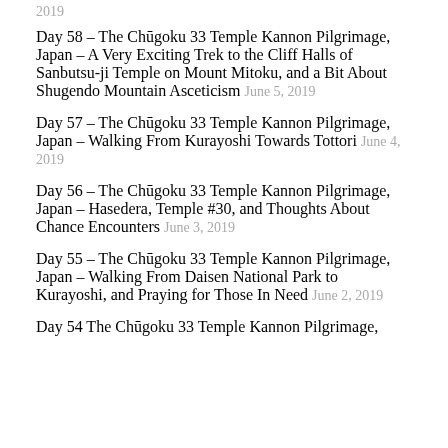2019
Day 58 – The Chūgoku 33 Temple Kannon Pilgrimage, Japan – A Very Exciting Trek to the Cliff Halls of Sanbutsu-ji Temple on Mount Mitoku, and a Bit About Shugendo Mountain Asceticism June 5, 2019
Day 57 – The Chūgoku 33 Temple Kannon Pilgrimage, Japan – Walking From Kurayoshi Towards Tottori June 4, 2019
Day 56 – The Chūgoku 33 Temple Kannon Pilgrimage, Japan – Hasedera, Temple #30, and Thoughts About Chance Encounters June 3, 2019
Day 55 – The Chūgoku 33 Temple Kannon Pilgrimage, Japan – Walking From Daisen National Park to Kurayoshi, and Praying for Those In Need June 2, 2019
Day 54 The Chūgoku 33 Temple Kannon Pilgrimage,